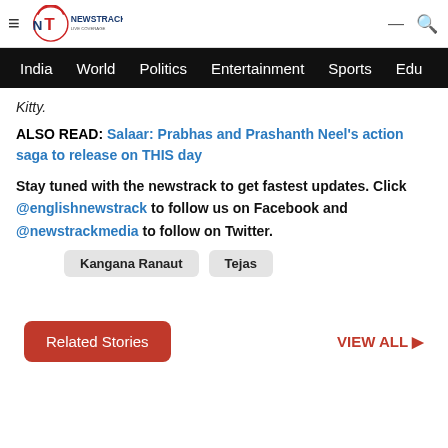Newstrack - hamburger menu, logo, search icon
India | World | Politics | Entertainment | Sports | Edu
Kitty.
ALSO READ: Salaar: Prabhas and Prashanth Neel's action saga to release on THIS day
Stay tuned with the newstrack to get fastest updates. Click @englishnewstrack to follow us on Facebook and @newstrackmedia to follow on Twitter.
Kangana Ranaut
Tejas
Related Stories   VIEW ALL →